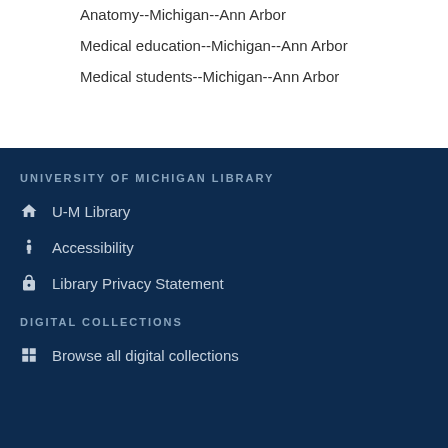Anatomy--Michigan--Ann Arbor
Medical education--Michigan--Ann Arbor
Medical students--Michigan--Ann Arbor
UNIVERSITY OF MICHIGAN LIBRARY
U-M Library
Accessibility
Library Privacy Statement
DIGITAL COLLECTIONS
Browse all digital collections